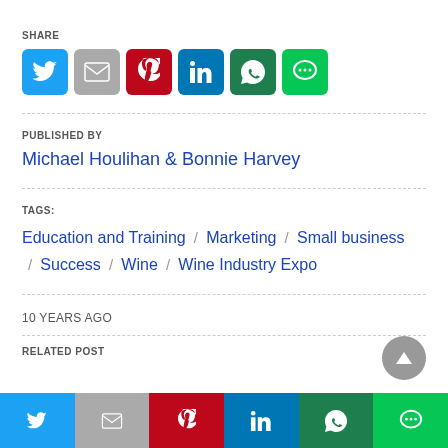SHARE
[Figure (infographic): Row of social media share buttons: Twitter (blue), Gmail (gray), Pinterest (red), LinkedIn (teal-blue), WhatsApp (dark green), LINE (green)]
PUBLISHED BY
Michael Houlihan & Bonnie Harvey
TAGS:
Education and Training / Marketing / Small business / Success / Wine / Wine Industry Expo
10 YEARS AGO
RELATED POST
[Figure (infographic): Bottom bar with 6 social media buttons: Twitter (blue), Gmail (gray), Pinterest (red), LinkedIn (blue), WhatsApp (dark green), LINE (green)]